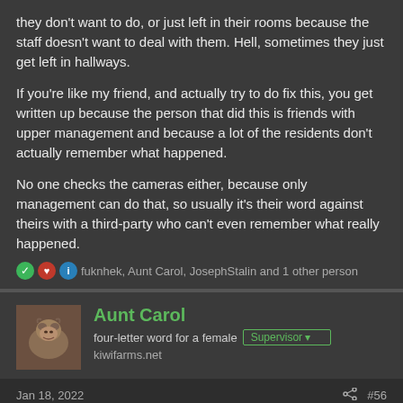they don't want to do, or just left in their rooms because the staff doesn't want to deal with them. Hell, sometimes they just get left in hallways.

If you're like my friend, and actually try to do fix this, you get written up because the person that did this is friends with upper management and because a lot of the residents don't actually remember what happened.

No one checks the cameras either, because only management can do that, so usually it's their word against theirs with a third-party who can't even remember what really happened.
fuknhek, Aunt Carol, JosephStalin and 1 other person
Aunt Carol
four-letter word for a female
kiwifarms.net
Jan 18, 2022
#56